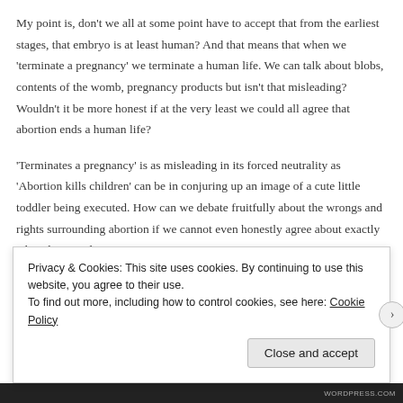My point is, don't we all at some point have to accept that from the earliest stages, that embryo is at least human? And that means that when we 'terminate a pregnancy' we terminate a human life. We can talk about blobs, contents of the womb, pregnancy products but isn't that misleading? Wouldn't it be more honest if at the very least we could all agree that abortion ends a human life?
'Terminates a pregnancy' is as misleading in its forced neutrality as 'Abortion kills children' can be in conjuring up an image of a cute little toddler being executed. How can we debate fruitfully about the wrongs and rights surrounding abortion if we cannot even honestly agree about exactly what abortion does?
Privacy & Cookies: This site uses cookies. By continuing to use this website, you agree to their use.
To find out more, including how to control cookies, see here: Cookie Policy